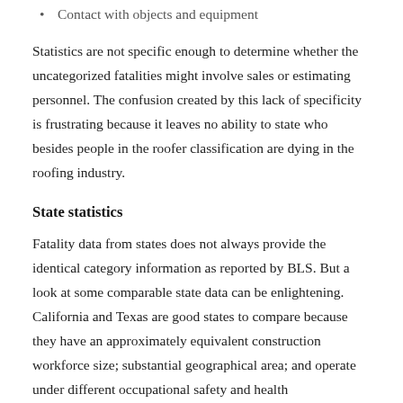Contact with objects and equipment
Statistics are not specific enough to determine whether the uncategorized fatalities might involve sales or estimating personnel. The confusion created by this lack of specificity is frustrating because it leaves no ability to state who besides people in the roofer classification are dying in the roofing industry.
State statistics
Fatality data from states does not always provide the identical category information as reported by BLS. But a look at some comparable state data can be enlightening. California and Texas are good states to compare because they have an approximately equivalent construction workforce size; substantial geographical area; and operate under different occupational safety and health